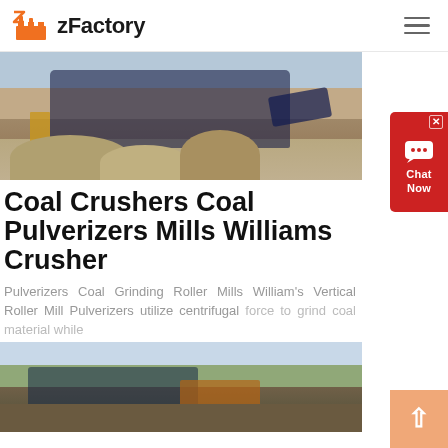zFactory
[Figure (photo): Photo of a coal crusher/mining machine with conveyor belts and piles of crushed stone material in an outdoor mining site.]
Coal Crushers Coal Pulverizers Mills Williams Crusher
Pulverizers Coal Grinding Roller Mills William's Vertical Roller Mill Pulverizers utilize centrifugal force to grind coal material while...
[Figure (photo): Photo of a crusher machine at a quarry/mining site with rocky terrain and blue sky in the background.]